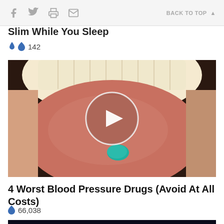f  [twitter]  [print]  [email]   BACK TO TOP ▲
Slim While You Sleep
🔥 142
[Figure (photo): Close-up photo of an open mouth with tongue extended, a small blue/teal pill resting on the tongue. A white circle with a play button triangle is overlaid in the center, indicating a video thumbnail.]
4 Worst Blood Pressure Drugs (Avoid At All Costs)
🔥 66,038
[Figure (photo): Partial view of a financial/stock exchange screen showing NYSE signage with colorful displays and the text 'GIS' visible.]